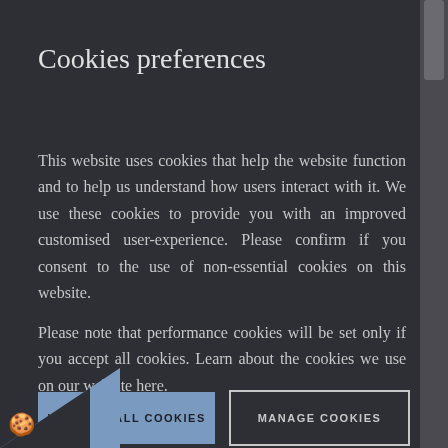Cookies preferences
This website uses cookies that help the website function and to help us understand how users interact with it. We use these cookies to provide you with an improved customised user-experience. Please confirm if you consent to the use of non-essential cookies on this website.
Please note that performance cookies will be set only if you accept all cookies. Learn about the cookies we use on our website here.